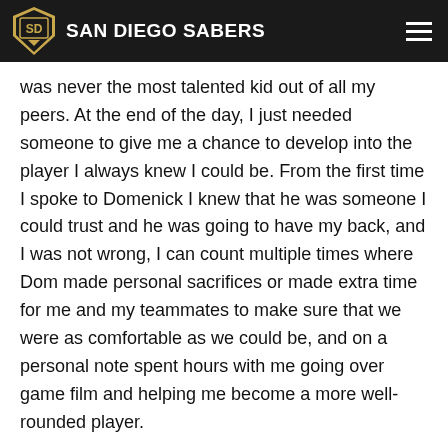SAN DIEGO SABERS
was never the most talented kid out of all my peers. At the end of the day, I just needed someone to give me a chance to develop into the player I always knew I could be. From the first time I spoke to Domenick I knew that he was someone I could trust and he was going to have my back, and I was not wrong, I can count multiple times where Dom made personal sacrifices or made extra time for me and my teammates to make sure that we were as comfortable as we could be, and on a personal note spent hours with me going over game film and helping me become a more well-rounded player.
Before becoming a part of the Sabers organization, I had a dream of playing collegiate hockey and helping my family pay for my post-secondary education and the Sabers helped me make that a reality. Coach Dom helped me a lot with picking which schools I should look into, and what kind of questions I should have been